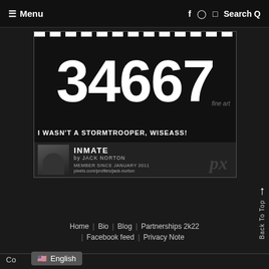≡ Menu   f  ◎  🐦  Search 🔍
[Figure (screenshot): Artwork card showing large stencil-style number '34667' in white on black background with text 'I WASN'T A STORMTROOPER, WISEASS!' below, and a profile strip for 'INMATE by JACK NORTON' with member info and pixels.com profile URL, plus 'fine art' and 'px' watermarks]
Back To Top
Home | Bio | Blog | Partnerships 2k22 | Facebook feed | Privacy Note
Co... English